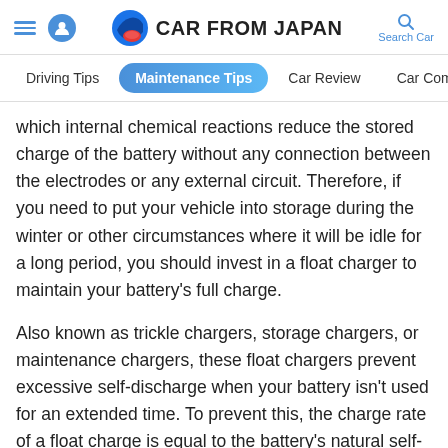CAR FROM JAPAN
Driving Tips | Maintenance Tips | Car Review | Car Comparison
which internal chemical reactions reduce the stored charge of the battery without any connection between the electrodes or any external circuit. Therefore, if you need to put your vehicle into storage during the winter or other circumstances where it will be idle for a long period, you should invest in a float charger to maintain your battery's full charge.
Also known as trickle chargers, storage chargers, or maintenance chargers, these float chargers prevent excessive self-discharge when your battery isn't used for an extended time. To prevent this, the charge rate of a float charge is equal to the battery's natural self-discharge rate.
Most trickle chargers have built-in circuitry to prevent